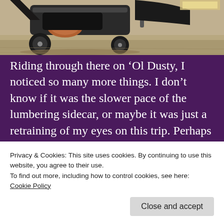[Figure (photo): Partial view of a motorcycle with sidecar, showing the lower portion including tires and sidecar body against a dirt/gravel ground surface.]
Riding through there on ‘Ol Dusty, I noticed so many more things. I don’t know if it was the slower pace of the lumbering sidecar, or maybe it was just a retraining of my eyes on this trip. Perhaps I’m just getting older and have less desire to tear ass up and down twisty roads? At the same time, with the bike missing 4th gear, I was hauling ass and passed more motorcycles than passed me. I was just trying to keep
Privacy & Cookies: This site uses cookies. By continuing to use this website, you agree to their use.
To find out more, including how to control cookies, see here:
Cookie Policy
Close and accept